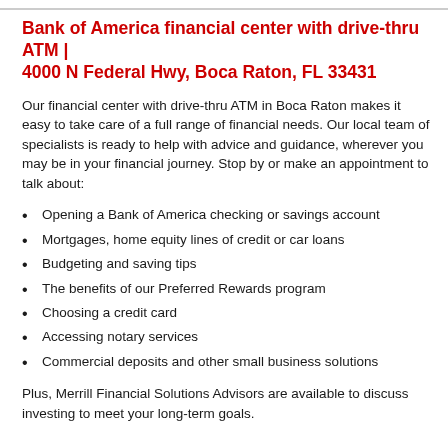Bank of America financial center with drive-thru ATM | 4000 N Federal Hwy, Boca Raton, FL 33431
Our financial center with drive-thru ATM in Boca Raton makes it easy to take care of a full range of financial needs. Our local team of specialists is ready to help with advice and guidance, wherever you may be in your financial journey. Stop by or make an appointment to talk about:
Opening a Bank of America checking or savings account
Mortgages, home equity lines of credit or car loans
Budgeting and saving tips
The benefits of our Preferred Rewards program
Choosing a credit card
Accessing notary services
Commercial deposits and other small business solutions
Plus, Merrill Financial Solutions Advisors are available to discuss investing to meet your long-term goals.